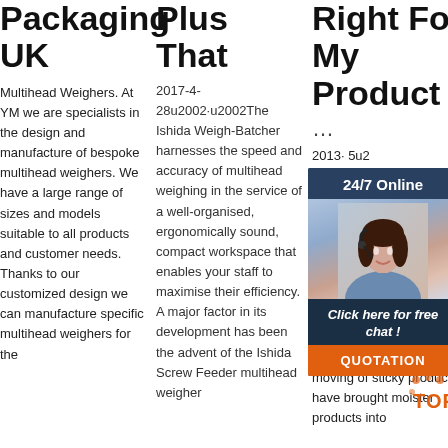Packaging UK
Multihead Weighers. At YM we are specialists in the design and manufacture of bespoke multihead weighers. We have a large range of sizes and models suitable to all products and customer needs. Thanks to our customized design we can manufacture specific multihead weighers for the
Plus That
2017-4-28u2002·u2002The Ishida Weigh-Batcher harnesses the speed and accuracy of multihead weighing in the service of a well-organised, ergonomically sound, compact workspace that enables your staff to maximise their efficiency. A major factor in its development has been the advent of the Ishida Screw Feeder multihead weigher
Right For My Product
...
[Figure (other): 24/7 Online chat widget with agent photo, 'Click here for free chat!' text, and orange QUOTATION button]
2013· 5u2002Euro pet f mult achi effic 20- weig formidable speeds with the drier, particulate types while advances in the moving of sticky products have brought moister products into